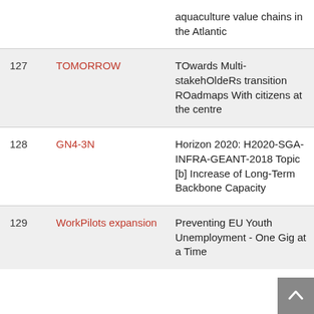| # | Project | Description |
| --- | --- | --- |
|  |  | aquaculture value chains in the Atlantic |
| 127 | TOMORROW | TOwards Multi-stakehOldeRs transition ROadmaps With citizens at the centre |
| 128 | GN4-3N | Horizon 2020: H2020-SGA-INFRA-GEANT-2018 Topic [b] Increase of Long-Term Backbone Capacity |
| 129 | WorkPilots expansion | Preventing EU Youth Unemployment - One Gig at a Time |